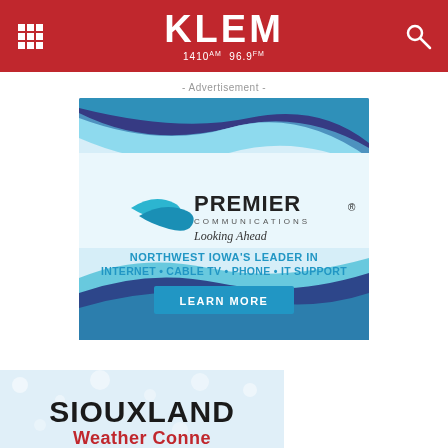KLEM 1410 AM 96.9 FM
- Advertisement -
[Figure (advertisement): Premier Communications advertisement banner. Blue wave swirl background with Premier Communications logo, tagline 'Looking Ahead', text 'NORTHWEST IOWA'S LEADER IN INTERNET • CABLE TV • PHONE • IT SUPPORT', and a blue 'LEARN MORE' button.]
[Figure (illustration): Partial view of a winter/snowy scene graphic with large bold text reading 'SIOUXLAND' and partially visible text below it, suggesting 'Weather Connection' or similar title.]